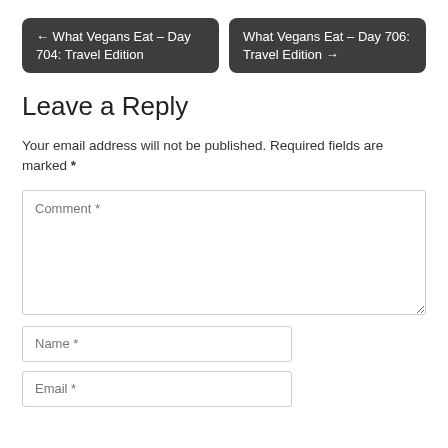← What Vegans Eat – Day 704: Travel Edition
What Vegans Eat – Day 706: Travel Edition →
Leave a Reply
Your email address will not be published. Required fields are marked *
Comment *
Name *
Email *